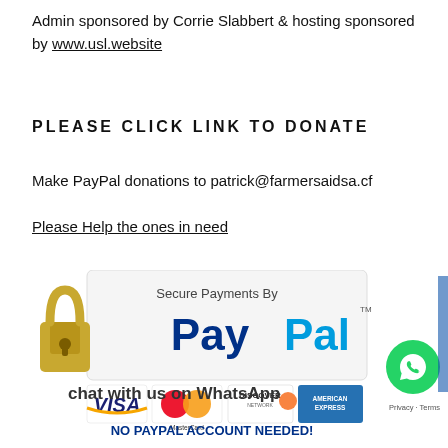Admin sponsored by Corrie Slabbert & hosting sponsored by www.usl.website
PLEASE CLICK LINK TO DONATE
Make PayPal donations to patrick@farmersaidsa.cf
Please Help the ones in need
[Figure (infographic): Secure Payments By PayPal banner with padlock icon, credit card logos (VISA, MasterCard, Discover, American Express), and text NO PAYPAL ACCOUNT NEEDED!]
chat with us on WhatsApp